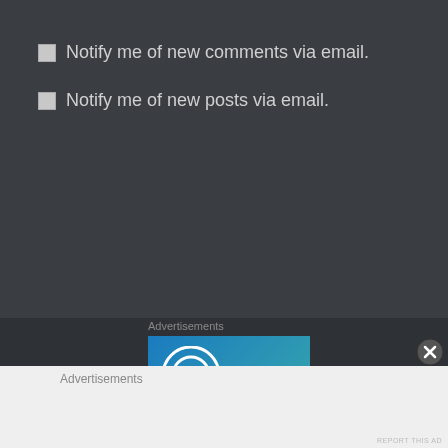Notify me of new comments via email.
Notify me of new posts via email.
Advertisements
[Figure (logo): WordPress logo with 'Create' text on blue-to-teal gradient background]
Advertisements
REPORT THIS AD